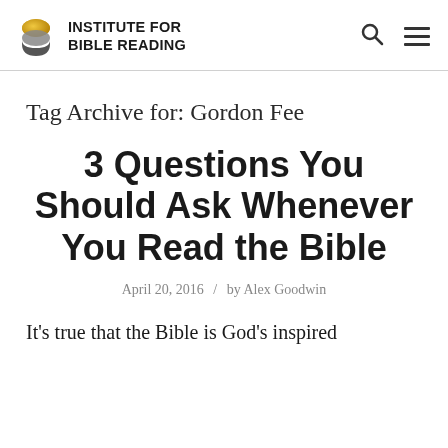INSTITUTE FOR BIBLE READING
Tag Archive for: Gordon Fee
3 Questions You Should Ask Whenever You Read the Bible
April 20, 2016 / by Alex Goodwin
It's true that the Bible is God's inspired